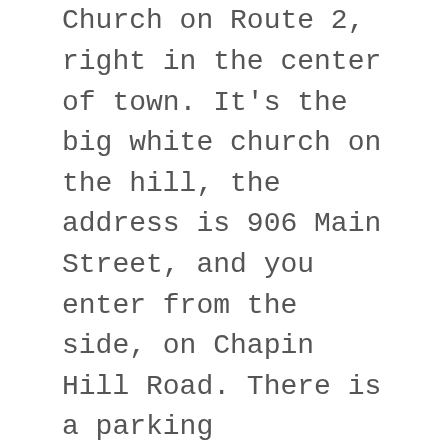Third Tuesdays are the regular day to join us in Williamstown for a potluck lunch. They take place at the First Congregational Church on Route 2, right in the center of town. It's the big white church on the hill, the address is 906 Main Street, and you enter from the side, on Chapin Hill Road. There is a parking